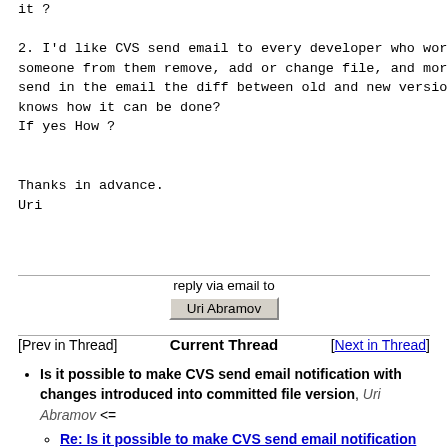it ?

2. I'd like CVS send email to every developer who works o
someone from them remove, add or change file, and more th
send in the email the diff between old and new versions o
knows how it can be done?
If yes How ?


Thanks in advance.
Uri
reply via email to
Uri Abramov
[Prev in Thread]   Current Thread   [Next in Thread]
Is it possible to make CVS send email notification with changes introduced into committed file version, Uri Abramov <=
Re: Is it possible to make CVS send email notification with changes introduced into committed file version, Isaac Claymore, 2003/06/05